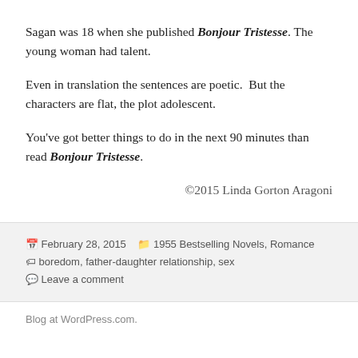Sagan was 18 when she published Bonjour Tristesse. The young woman had talent.
Even in translation the sentences are poetic.  But the characters are flat, the plot adolescent.
You've got better things to do in the next 90 minutes than read Bonjour Tristesse.
©2015 Linda Gorton Aragoni
February 28, 2015   1955 Bestselling Novels, Romance   boredom, father-daughter relationship, sex   Leave a comment
Blog at WordPress.com.